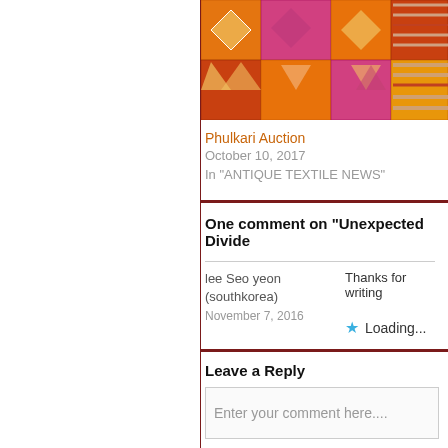[Figure (photo): Phulkari textile in orange, magenta, and beige geometric patterns]
Phulkari Auction
October 10, 2017
In "ANTIQUE TEXTILE NEWS"
One comment on “Unexpected Divide
lee Seo yeon (southkorea)
November 7, 2016
Thanks for writing
Loading...
Leave a Reply
Enter your comment here....